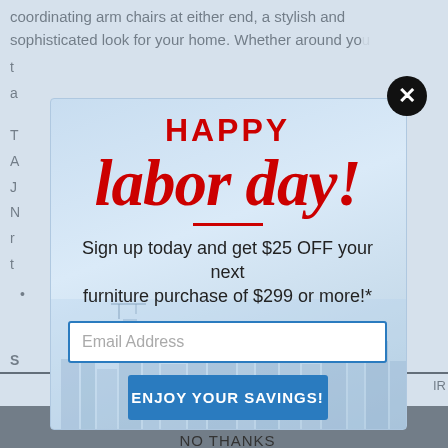coordinating arm chairs at either end, a stylish and sophisticated look for your home. Whether around yo...
T
A
J
N
r
t
•
[Figure (infographic): Happy Labor Day promotional popup modal with city skyline background. Bold red text reading HAPPY and labor day! in italic script. Sign up text: Sign up today and get $25 OFF your next furniture purchase of $299 or more!* Email Address input field, ENJOY YOUR SAVINGS! blue button, NO THANKS link. Close button (X) in top right corner.]
Sign up today and get $25 OFF your next furniture purchase of $299 or more!*
Email Address
ENJOY YOUR SAVINGS!
NO THANKS